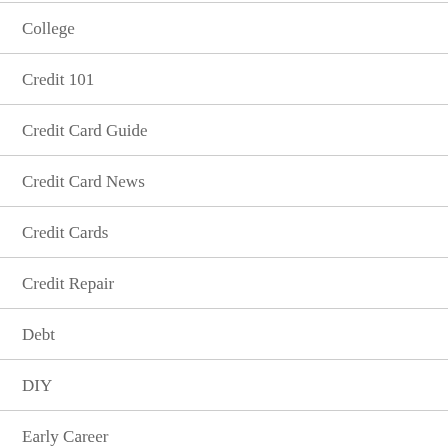College
Credit 101
Credit Card Guide
Credit Card News
Credit Cards
Credit Repair
Debt
DIY
Early Career